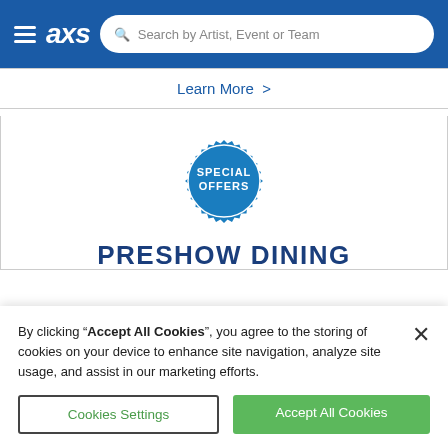[Figure (screenshot): AXS website navigation bar with hamburger menu, AXS logo, and search bar reading 'Search by Artist, Event or Team']
Learn More >
[Figure (logo): Special Offers badge — circular teal/blue badge with serrated edge and text 'SPECIAL OFFERS']
PRESHOW DINING
More offers and promotions
By clicking "Accept All Cookies", you agree to the storing of cookies on your device to enhance site navigation, analyze site usage, and assist in our marketing efforts.
Cookies Settings
Accept All Cookies